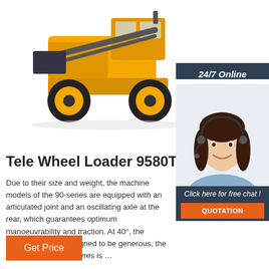[Figure (photo): Yellow wheel loader / tele wheel loader 9580T construction machine, viewed from the side-front, white background]
24/7 Online
[Figure (photo): Female customer service agent with headset, smiling, against white background]
Click here for free chat !
QUOTATION
Tele Wheel Loader 9580T
Due to their size and weight, the machine models of the 90-series are equipped with an articulated joint and an oscillating axle at the rear, which guarantees optimum manoeuvrability and traction. At 40°, the steering angle is designed to be generous, the turning circle across tyres is …
Get Price